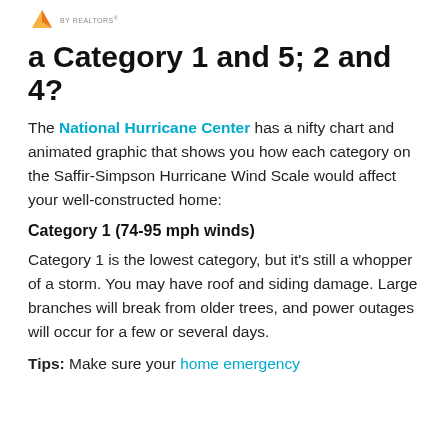by REALTORS®
a Category 1 and 5; 2 and 4?
The National Hurricane Center has a nifty chart and animated graphic that shows you how each category on the Saffir-Simpson Hurricane Wind Scale would affect your well-constructed home:
Category 1 (74-95 mph winds)
Category 1 is the lowest category, but it's still a whopper of a storm. You may have roof and siding damage. Large branches will break from older trees, and power outages will occur for a few or several days.
Tips: Make sure your home emergency